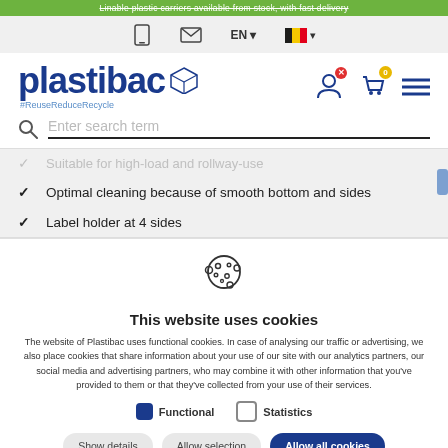Linable plastic carriers available from stock, with fast delivery
[Figure (screenshot): Navigation bar with mobile icon, email icon, EN language selector with dropdown, and Belgium flag with dropdown]
[Figure (logo): Plastibac logo with cube icon and #ReuseReduceRecycle tagline, plus user account, cart (0), and menu icons]
Enter search term
Suitable for high-load and rollway-use
Optimal cleaning because of smooth bottom and sides
Label holder at 4 sides
This website uses cookies
The website of Plastibac uses functional cookies. In case of analysing our traffic or advertising, we also place cookies that share information about your use of our site with our analytics partners, our social media and advertising partners, who may combine it with other information that you've provided to them or that they've collected from your use of their services.
Functional   Statistics
Show details   Allow selection   Allow all cookies